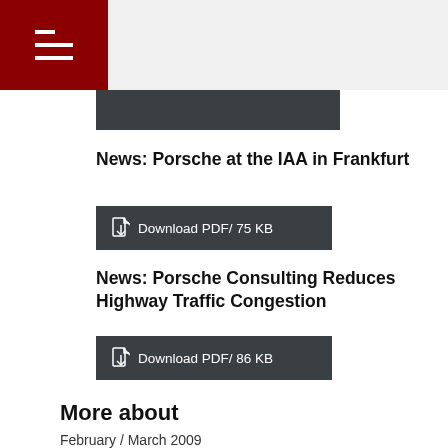[Figure (other): Dark bar graphic element at top]
News: Porsche at the IAA in Frankfurt
Download PDF/ 75 KB
News: Porsche Consulting Reduces Highway Traffic Congestion
Download PDF/ 86 KB
More about
February / March 2009